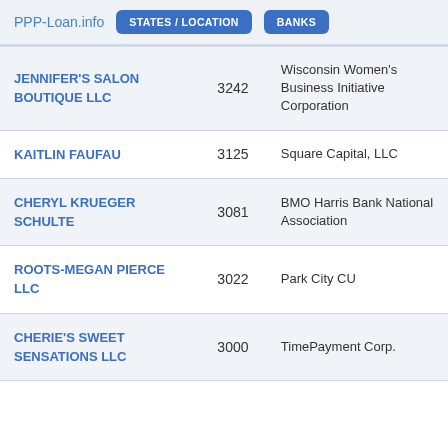PPP-Loan.info  STATES / LOCATION  BANKS
| Business Name | Amount | Bank |
| --- | --- | --- |
| JENNIFER'S SALON BOUTIQUE LLC | 3242 | Wisconsin Women's Business Initiative Corporation |
| KAITLIN FAUFAU | 3125 | Square Capital, LLC |
| CHERYL KRUEGER SCHULTE | 3081 | BMO Harris Bank National Association |
| ROOTS-MEGAN PIERCE LLC | 3022 | Park City CU |
| CHERIE'S SWEET SENSATIONS LLC | 3000 | TimePayment Corp. |